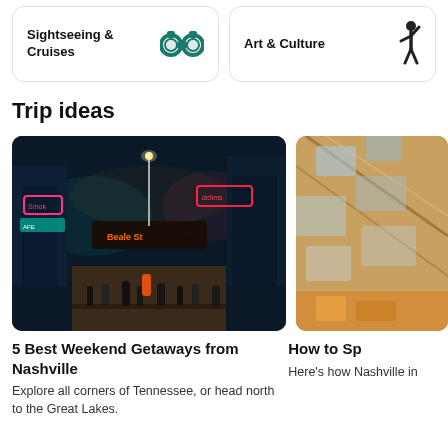[Figure (other): Card with binoculars icon labeled Sightseeing & Cruises]
[Figure (other): Card with person/figure icon labeled Art & Culture]
Trip ideas
[Figure (photo): Nighttime neon-lit street scene with crowds of people walking, colorful signs and restaurants]
[Figure (photo): Partially visible photo of building interior or architecture with yellow/warm tones]
5 Best Weekend Getaways from Nashville
Explore all corners of Tennessee, or head north to the Great Lakes.
How to Sp
Here's how Nashville in